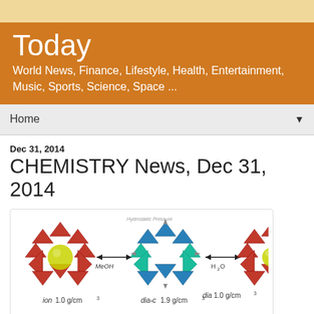Today — World News, Finance, Lifestyle, Health, Entertainment, Music, Sports, Science, Space ...
Home
Dec 31, 2014
CHEMISTRY News, Dec 31, 2014
[Figure (illustration): Diagram showing three molecular crystal structures labeled: ion (1.0 g/cm³), dia-c (1.9 g/cm³), and dia (1.0 g/cm³), with arrows labeled MeOH and H₂O indicating transitions under Hydrostatic Pressure. Red and teal/green octahedral frameworks with yellow spheres inside some structures.]
Chemistry : Discovery News
news.discovery.com/earth/tags/chemistry.htm Cached